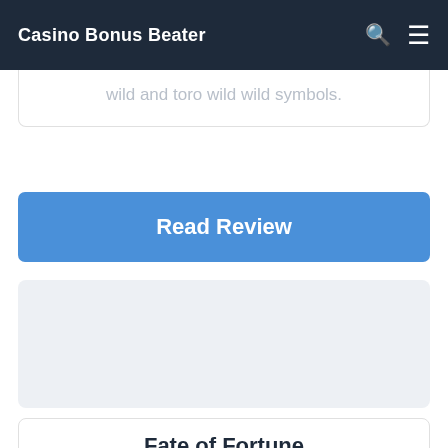Casino Bonus Beater
wild and toro wild wild symbols.
Read Review
[Figure (other): Advertisement placeholder block with light gray background]
Fate of Fortune
Casino Bonus Beater review of the Slot